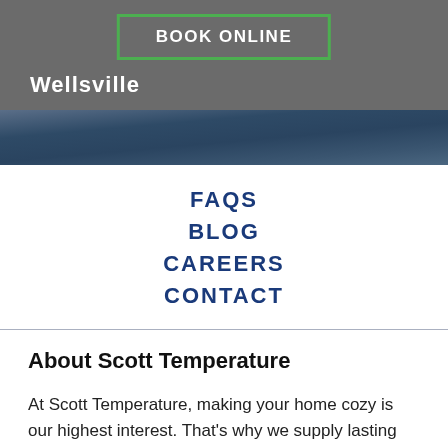BOOK ONLINE
Wellsville
[Figure (photo): Blue/navy textured background banner image]
FAQS
BLOG
CAREERS
CONTACT
About Scott Temperature
At Scott Temperature, making your home cozy is our highest interest. That's why we supply lasting